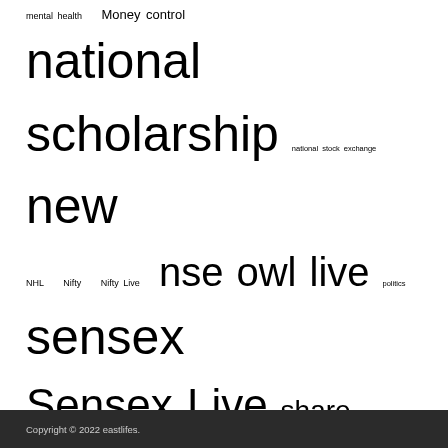mental health  Money control  national scholarship  national stock exchange  new  NHL  Nifty  Nifty Live  nse  owl live  politics  sensex  Sensex Live  share  share market news  Soccer  Sotck exchange  Sports  stock exchange  stock market  Technology  the head of finance  to share  Trade
Copyright © 2022 eastlifes.